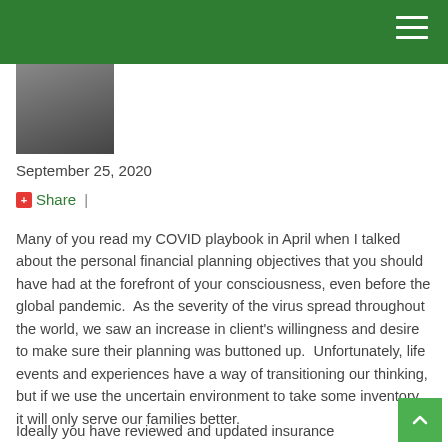[Figure (photo): Partial portrait photo of a man in a dark suit with a light tie, cropped at the top by the green header bar.]
September 25, 2020
Share  |
Many of you read my COVID playbook in April when I talked about the personal financial planning objectives that you should have had at the forefront of your consciousness, even before the global pandemic.  As the severity of the virus spread throughout the world, we saw an increase in client's willingness and desire to make sure their planning was buttoned up.  Unfortunately, life events and experiences have a way of transitioning our thinking, but if we use the uncertain environment to take some inventory, it will only serve our families better.
Ideally you have reviewed and updated insurance